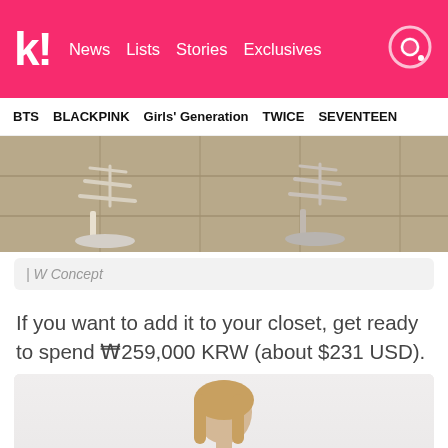k! News  Lists  Stories  Exclusives
BTS  BLACKPINK  Girls' Generation  TWICE  SEVENTEEN
[Figure (photo): Close-up of two pairs of feet wearing white strappy heeled sandals on a stone-tiled surface]
| W Concept
If you want to add it to your closet, get ready to spend ₩259,000 KRW (about $231 USD).
[Figure (photo): Young blonde model wearing a white and red plaid blazer jacket]